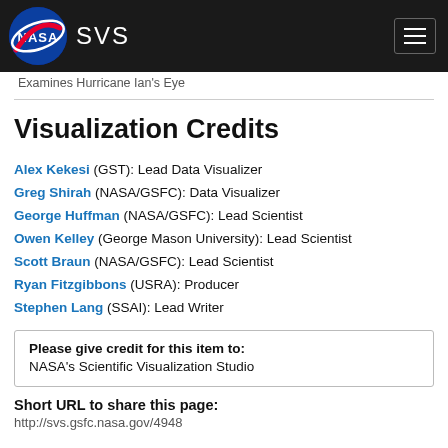NASA SVS
Examines Hurricane Ian's Eye
Visualization Credits
Alex Kekesi (GST): Lead Data Visualizer
Greg Shirah (NASA/GSFC): Data Visualizer
George Huffman (NASA/GSFC): Lead Scientist
Owen Kelley (George Mason University): Lead Scientist
Scott Braun (NASA/GSFC): Lead Scientist
Ryan Fitzgibbons (USRA): Producer
Stephen Lang (SSAI): Lead Writer
Please give credit for this item to:
NASA's Scientific Visualization Studio
Short URL to share this page:
http://svs.gsfc.nasa.gov/4948